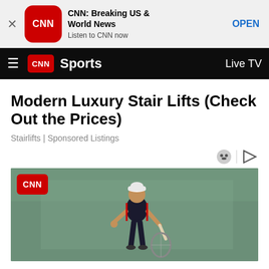[Figure (screenshot): CNN app advertisement banner with CNN logo icon, headline 'CNN: Breaking US & World News', subtext 'Listen to CNN now', and OPEN button]
CNN Sports  Live TV
Modern Luxury Stair Lifts (Check Out the Prices)
Stairlifts | Sponsored Listings
[Figure (photo): Tennis player holding a racket on a green court, wearing dark outfit with white cap, CNN logo watermark in top-left corner]